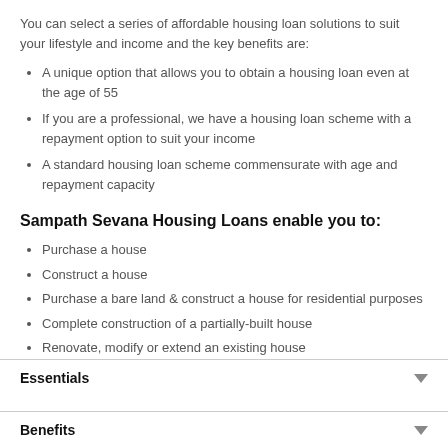You can select a series of affordable housing loan solutions to suit your lifestyle and income and the key benefits are:
A unique option that allows you to obtain a housing loan even at the age of 55
If you are a professional, we have a housing loan scheme with a repayment option to suit your income
A standard housing loan scheme commensurate with age and repayment capacity
Sampath Sevana Housing Loans enable you to:
Purchase a house
Construct a house
Purchase a bare land & construct a house for residential purposes
Complete construction of a partially-built house
Renovate, modify or extend an existing house
Essentials
Benefits